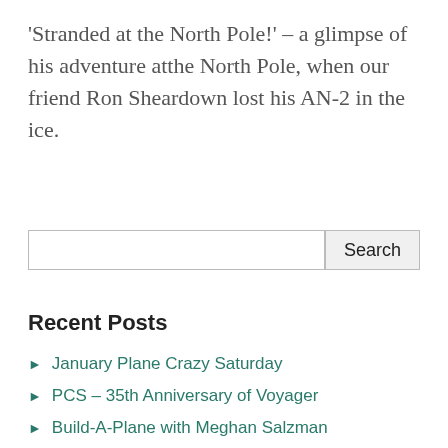'Stranded at the North Pole!' – a glimpse of his adventure atthe North Pole, when our friend Ron Sheardown lost his AN-2 in the ice.
Search
Recent Posts
January Plane Crazy Saturday
PCS – 35th Anniversary of Voyager
Build-A-Plane with Meghan Salzman
A Flying Adventure with Diane Barney
PCS December 2019